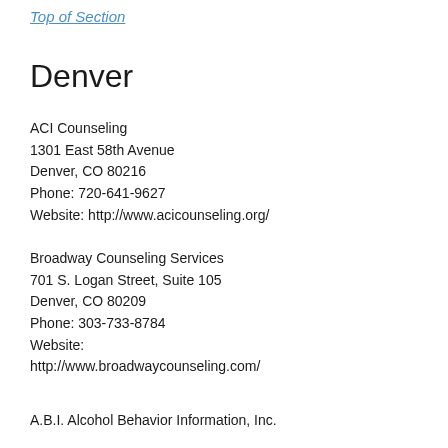Top of Section
Denver
ACI Counseling
1301 East 58th Avenue
Denver, CO 80216
Phone: 720-641-9627
Website: http://www.acicounseling.org/
Broadway Counseling Services
701 S. Logan Street, Suite 105
Denver, CO 80209
Phone: 303-733-8784
Website: http://www.broadwaycounseling.com/
A.B.I. Alcohol Behavior Information, Inc.